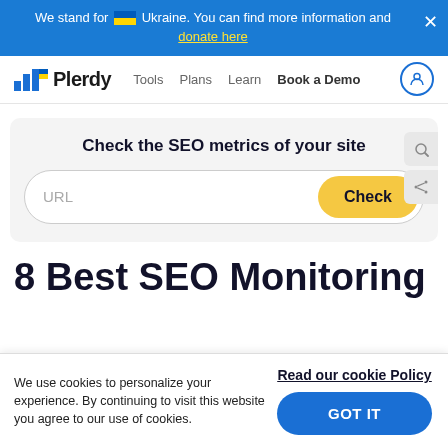We stand for 🇺🇦 Ukraine. You can find more information and donate here
[Figure (logo): Plerdy logo with bar chart icon and Ukrainian flag accent, followed by navigation links: Tools, Plans, Learn, Book a Demo, and a user account icon]
Check the SEO metrics of your site
URL [Check button]
8 Best SEO Monitoring
We use cookies to personalize your experience. By continuing to visit this website you agree to our use of cookies.
Read our cookie Policy
GOT IT